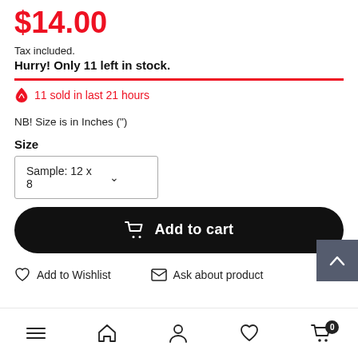$14.00
Tax included.
Hurry! Only 11 left in stock.
11 sold in last 21 hours
NB! Size is in Inches (")
Size
Sample: 12 x 8
Add to cart
Add to Wishlist
Ask about product